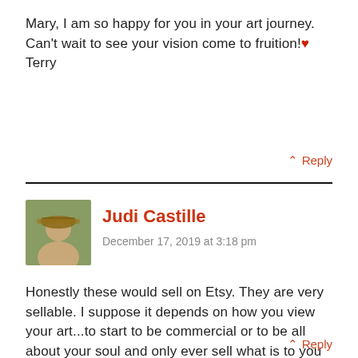Mary, I am so happy for you in your art journey. Can't wait to see your vision come to fruition! ❤ Terry
↑ Reply
Judi Castille
December 17, 2019 at 3:18 pm
Honestly these would sell on Etsy. They are very sellable. I suppose it depends on how you view your art...to start to be commercial or to be all about your soul and only ever sell what is to you perfect.
Maybe just get these out and then work on your deeper secret garden..the truly secret one.
↑ Reply